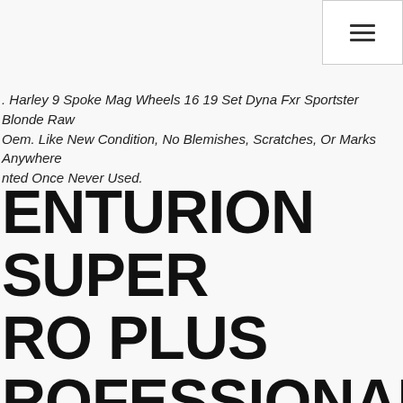navigation menu button
. Harley 9 Spoke Mag Wheels 16 19 Set Dyna Fxr Sportster Blonde Raw Oem. Like New Condition, No Blemishes, Scratches, Or Marks Anywhere. nted Once Never Used.
ENTURION SUPER RO PLUS ROFESSIONAL IAGNOSTIC TOOL ROM ECHNORESEARCH EW